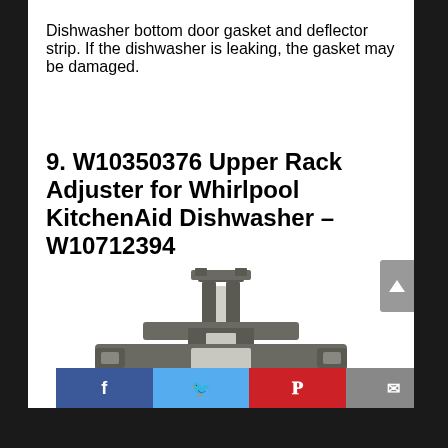Dishwasher bottom door gasket and deflector strip. If the dishwasher is leaking, the gasket may be damaged.
9. W10350376 Upper Rack Adjuster for Whirlpool KitchenAid Dishwasher – W10712394
[Figure (photo): Photo of a W10350376 Upper Rack Adjuster part for Whirlpool KitchenAid dishwasher — a dark gray plastic bracket with a tall center post and wide horizontal base with clips on both ends.]